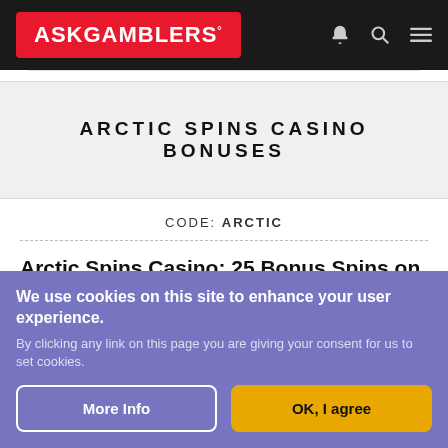ASKGAMBLERS®
ARCTIC SPINS CASINO BONUSES
CODE: ARCTIC
Arctic Spins Casino: 25 Bonus Spins on Starburst Slot
★★★★★★★★★ NaN
Welcome Bonus
CLOSED
We use cookies on this site to enhance your user experience.
By clicking any link on this page you are giving your consent for us to set cookies.
More Info
OK, I agree